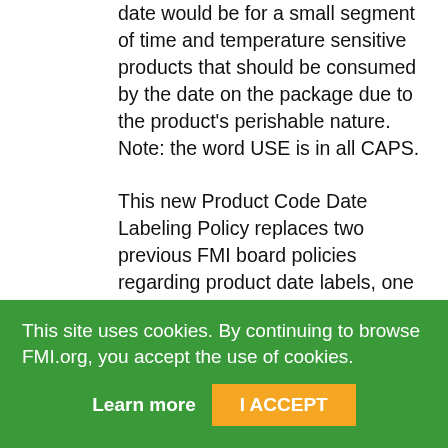date would be for a small segment of time and temperature sensitive products that should be consumed by the date on the package due to the product's perishable nature. Note: the word USE is in all CAPS.

This new Product Code Date Labeling Policy replaces two previous FMI board policies regarding product date labels, one entitled Retailer Applied Product Dates, adopted January 11, 2003, and the other entitled Non-Perishable Packaged Food Product Dates, adopted May 1, 2004. In January, 2017, the
This site uses cookies. By continuing to browse FMI.org, you accept the use of cookies.
Learn more
I ACCEPT